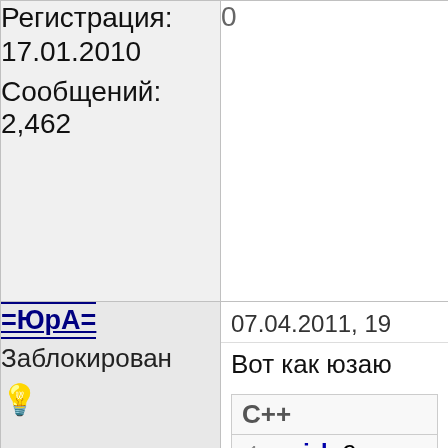Регистрация: 17.01.2010
Сообщений: 2,462
0
=ЮрА=
Заблокирован
07.04.2011, 19
Вот как юзаю
C++
1 void C
2 {
3    MS